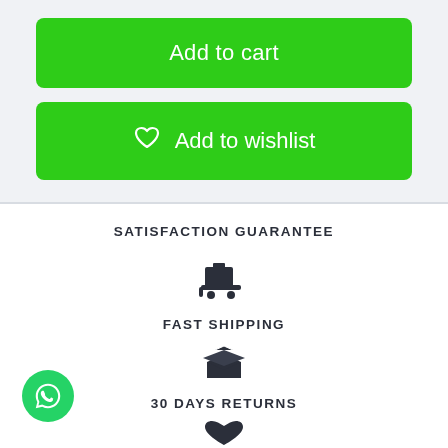[Figure (screenshot): Green 'Add to cart' button]
[Figure (screenshot): Green 'Add to wishlist' button with heart icon]
SATISFACTION GUARANTEE
[Figure (illustration): Shipping cart/warehouse trolley icon]
FAST SHIPPING
[Figure (illustration): Open box with items icon]
30 DAYS RETURNS
[Figure (illustration): Heart/love icon partially visible at bottom]
[Figure (illustration): WhatsApp chat button (green circle with speech bubble icon)]